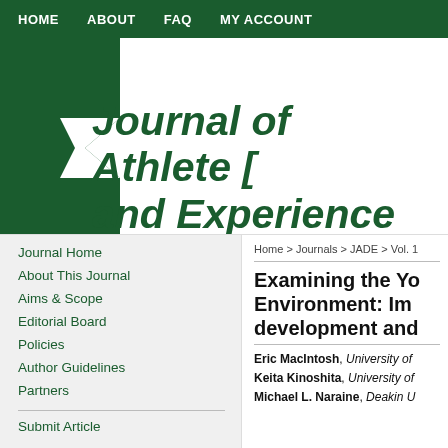HOME  ABOUT  FAQ  MY ACCOUNT
Journal of Athlete [Development] and Experience
Journal Home
About This Journal
Aims & Scope
Editorial Board
Policies
Author Guidelines
Partners
Submit Article
Home > Journals > JADE > Vol. 1
Examining the Youth [Sport] Environment: Im[plications for] development and [performance]
Eric MacIntosh, University of [Ottawa]
Keita Kinoshita, University of [Ottawa]
Michael L. Naraine, Deakin U[niversity]